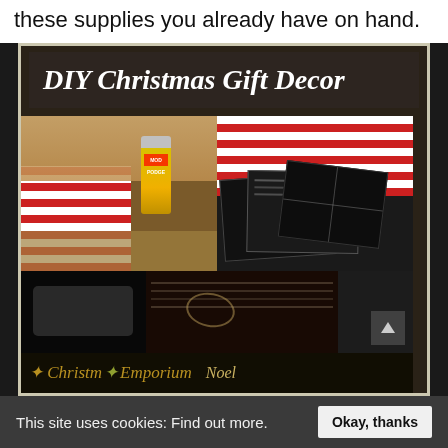these supplies you already have on hand.
[Figure (screenshot): DIY Christmas Gift Decor video thumbnail showing craft supplies including Mod Podge, chalkboard-style gift cards, a person in red and white striped shirt, and Christmas-themed decorative items including a 'Christmas Emporium' banner at bottom.]
This site uses cookies: Find out more.
Okay, thanks